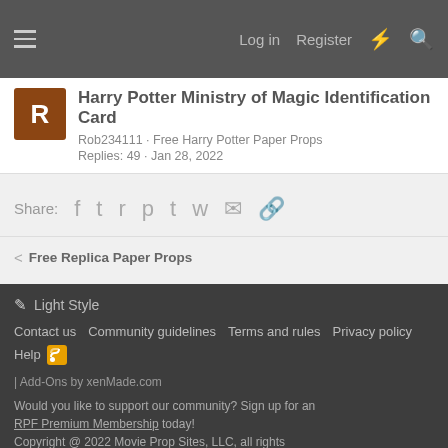Log in  Register
Harry Potter Ministry of Magic Identification Card
Rob234111 · Free Harry Potter Paper Props
Replies: 49 · Jan 28, 2022
Share:
< Free Replica Paper Props
✎ Light Style
Contact us  Community guidelines  Terms and rules  Privacy policy  Help
| Add-Ons by xenMade.com
Would you like to support our community? Sign up for an RPF Premium Membership today!
Copyright @ 2022 Movie Prop Sites, LLC, all rights reserved.
RPF, "craft your fandom", and the RPF logo are registered trademarks of Movie Prop Sites, LLC.